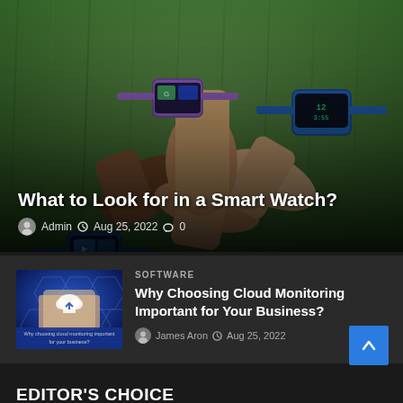[Figure (photo): Photo of multiple children's hands stacked together, each wearing colorful smartwatches (blue, purple) on a grassy background]
What to Look for in a Smart Watch?
Admin  Aug 25, 2022  0
[Figure (photo): Thumbnail image showing a hand holding a tablet with cloud upload icon and hexagonal pattern, with blue text overlay reading 'Why choosing cloud monitoring important for your business?']
SOFTWARE
Why Choosing Cloud Monitoring Important for Your Business?
James Aron  Aug 25, 2022
EDITOR'S CHOICE